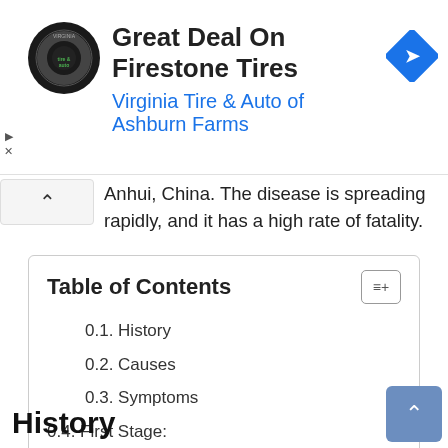[Figure (other): Advertisement banner for Virginia Tire & Auto of Ashburn Farms featuring Firestone Tires deal. Circular logo on left, text in center, navigation icon on right.]
Anhui, China. The disease is spreading rapidly, and it has a high rate of fatality.
| 0.1. History |
| 0.2. Causes |
| 0.3. Symptoms |
| 0.4. First Stage: |
| 0.5. Second Stage: |
| 0.6. Third Stage: |
| 0.6.1. Treatment |
History